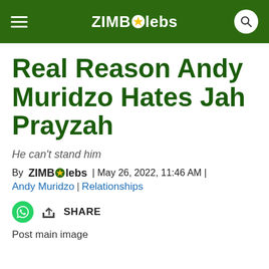ZIMBOlebs
Real Reason Andy Muridzo Hates Jah Prayzah
He can't stand him
By ZIMBOlebs | May 26, 2022, 11:46 AM | Andy Muridzo | Relationships
[Figure (other): Post main image placeholder]